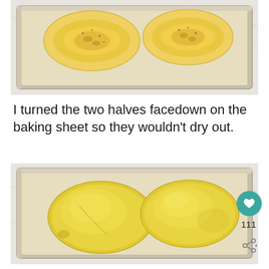[Figure (photo): Two halves of spaghetti squash placed cut-side-up on a parchment-lined baking sheet, viewed from above, with visible seasoning on the cut surfaces.]
I turned the two halves facedown on the baking sheet so they wouldn't dry out.
[Figure (photo): Two halves of spaghetti squash placed face-down (skin-side-up) on a parchment-lined baking sheet, showing their yellow rounded backs, with a heart/like button and share button visible on the right side.]